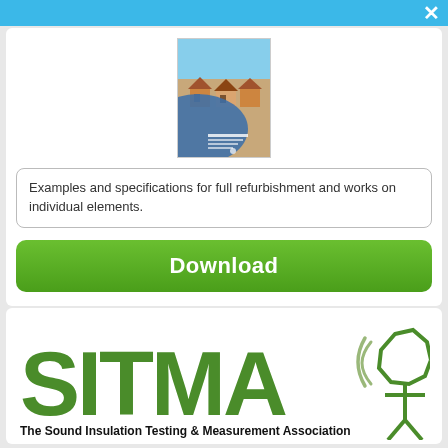[Figure (screenshot): Top navigation/header bar with light blue background and white X close button on the right]
[Figure (photo): Book cover thumbnail showing a residential street with terraced houses and a blue curved design element, with text on cover]
Examples and specifications for full refurbishment and works on individual elements.
[Figure (other): Green Download button with rounded corners]
[Figure (logo): SITMA logo - The Sound Insulation Testing & Measurement Association, with large green letters SITMA and a stylized figure icon with sound waves]